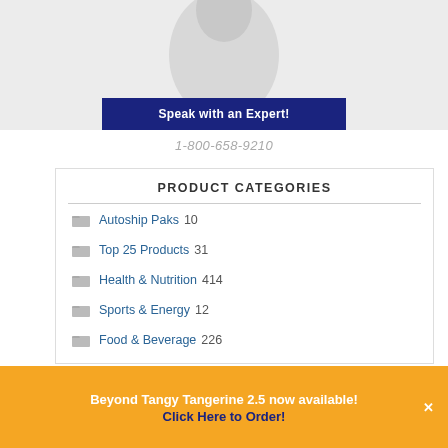[Figure (photo): Partial image of a person in white, visible from waist up, with a dark navy blue banner reading 'Speak with an Expert!']
1-800-658-9210
PRODUCT CATEGORIES
Autoship Paks 10
Top 25 Products 31
Health & Nutrition 414
Sports & Energy 12
Food & Beverage 226
Beyond Tangy Tangerine 2.5 now available! Click Here to Order!